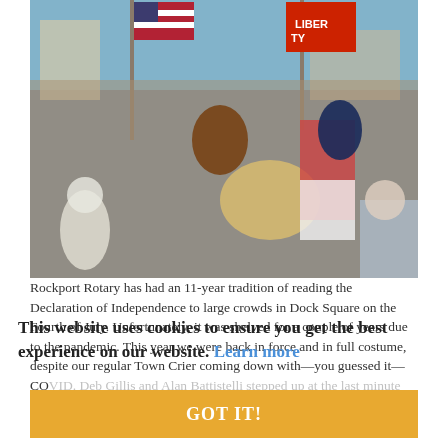[Figure (photo): Group of people in colonial-era costumes at what appears to be a Fourth of July event in Dock Square, Rockport. They hold an American flag and a red 'Liberty' flag, and are reading from a large scroll-like document. A woman in a red checked dress is at center, with a crowd gathered around including children in colonial attire.]
Rockport Rotary has had an 11-year tradition of reading the Declaration of Independence to large crowds in Dock Square on the Fourth of July. Unfortunately, it was shelved for a couple of years due to the pandemic. This year we were back in force and in full costume, despite our regular Town Crier coming down with—you guessed it—COVID. Deb Gillis and Alan Battistelli stepped up at the last minute with a rousing rendition of everyone's favorite declaration. The club followed this up later
This website uses cookies to ensure you get the best experience on our website. Learn more
GOT IT!